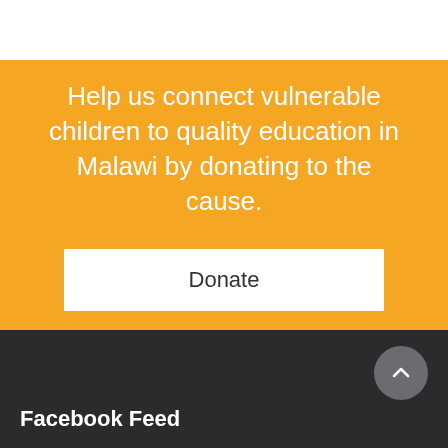Help us connect vulnerable children to quality education in Malawi by donating to the cause.
Donate
Facebook Feed